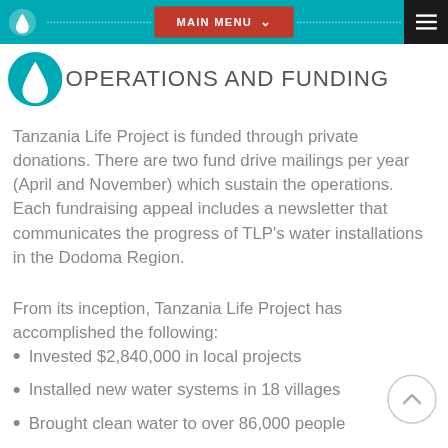MAIN MENU
OPERATIONS AND FUNDING
Tanzania Life Project is funded through private donations. There are two fund drive mailings per year (April and November) which sustain the operations. Each fundraising appeal includes a newsletter that communicates the progress of TLP's water installations in the Dodoma Region.
From its inception, Tanzania Life Project has accomplished the following:
Invested $2,840,000 in local projects
Installed new water systems in 18 villages
Brought clean water to over 86,000 people